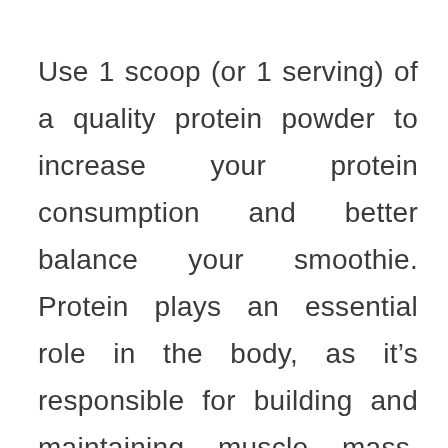Use 1 scoop (or 1 serving) of a quality protein powder to increase your protein consumption and better balance your smoothie. Protein plays an essential role in the body, as it's responsible for building and maintaining muscle mass, providing energy, healing infections, and much more. When looking for a protein, I suggest you skip the whey, look for purity & quality, and check for minimal